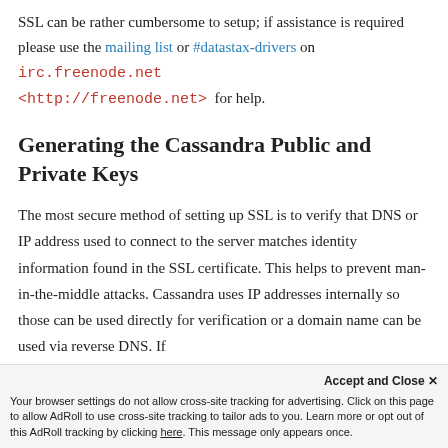SSL can be rather cumbersome to setup; if assistance is required please use the mailing list or #datastax-drivers on irc.freenode.net <http://freenode.net> for help.
Generating the Cassandra Public and Private Keys
The most secure method of setting up SSL is to verify that DNS or IP address used to connect to the server matches identity information found in the SSL certificate. This helps to prevent man-in-the-middle attacks. Cassandra uses IP addresses internally so those can be used directly for verification or a domain name can be used via reverse DNS. If...
Your browser settings do not allow cross-site tracking for advertising. Click on this page to allow AdRoll to use cross-site tracking to tailor ads to you. Learn more or opt out of this AdRoll tracking by clicking here. This message only appears once.